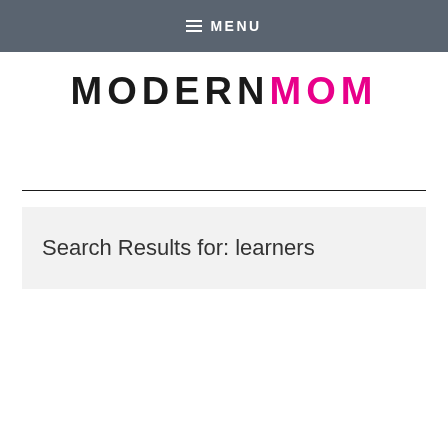MENU
[Figure (logo): ModernMom logo — MODERN in black, MOM in pink/magenta, large uppercase sans-serif lettering]
Search Results for: learners